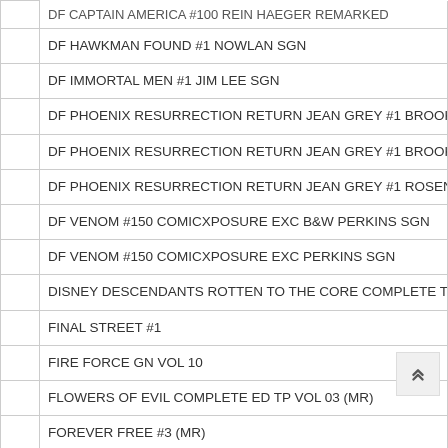| DF CAPTAIN AMERICA #100 REIN HAEGER REMARKED |
| DF HAWKMAN FOUND #1 NOWLAN SGN |
| DF IMMORTAL MEN #1 JIM LEE SGN |
| DF PHOENIX RESURRECTION RETURN JEAN GREY #1 BROOKS |
| DF PHOENIX RESURRECTION RETURN JEAN GREY #1 BROOKS S |
| DF PHOENIX RESURRECTION RETURN JEAN GREY #1 ROSENBUR |
| DF VENOM #150 COMICXPOSURE EXC B&W PERKINS SGN |
| DF VENOM #150 COMICXPOSURE EXC PERKINS SGN |
| DISNEY DESCENDANTS ROTTEN TO THE CORE COMPLETE TP |
| FINAL STREET #1 |
| FIRE FORCE GN VOL 10 |
| FLOWERS OF EVIL COMPLETE ED TP VOL 03 (MR) |
| FOREVER FREE #3 (MR) |
| FU JITSU TP VOL 01 |
| GFT GRIMM TALES OF TERROR HC VOL 03 |
| GFT TALES OF TERROR VOL 4 #4 CVR A ERIC J |
| GFT TALES OF TERROR VOL 4 #4 CVR B TBD |
| GFT TALES OF TERROR VOL 4 #4 CVR C WATSON |
| GHOUL SCOUTS TWEENAGE WEREWOLF #4 |